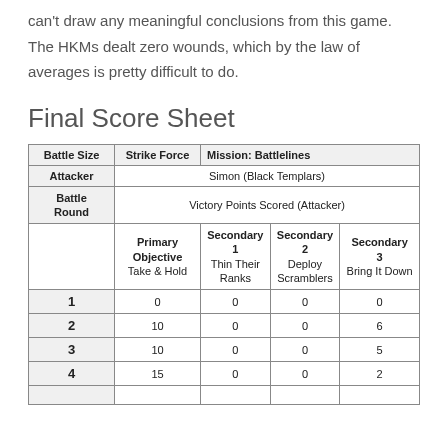can't draw any meaningful conclusions from this game. The HKMs dealt zero wounds, which by the law of averages is pretty difficult to do.
Final Score Sheet
| Battle Size | Strike Force | Mission: Battlelines |
| --- | --- | --- |
| Attacker | Simon (Black Templars) |  |  |  |
| Battle Round | Victory Points Scored (Attacker) |  |  |  |
|  | Primary Objective Take & Hold | Secondary 1 Thin Their Ranks | Secondary 2 Deploy Scramblers | Secondary 3 Bring It Down |
| 1 | 0 | 0 | 0 | 0 |
| 2 | 10 | 0 | 0 | 6 |
| 3 | 10 | 0 | 0 | 5 |
| 4 | 15 | 0 | 0 | 2 |